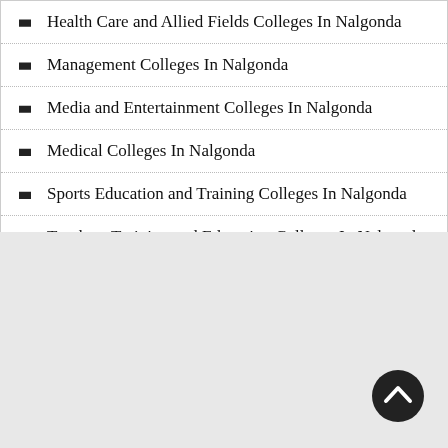Health Care and Allied Fields Colleges In Nalgonda
Management Colleges In Nalgonda
Media and Entertainment Colleges In Nalgonda
Medical Colleges In Nalgonda
Sports Education and Training Colleges In Nalgonda
Teachers Training and Education Colleges In Nalgonda
[Figure (other): Gray background section with a circular dark scroll-to-top button with a chevron/arrow icon in the bottom right]